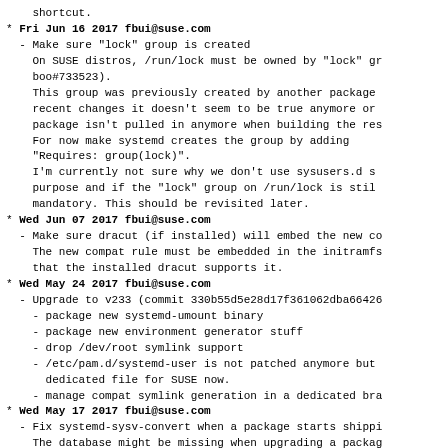shortcut.
* Fri Jun 16 2017 fbui@suse.com
  - Make sure "lock" group is created
    On SUSE distros, /run/lock must be owned by "lock" gr
    boo#733523).
    This group was previously created by another package
    recent changes it doesn't seem to be true anymore or
    package isn't pulled in anymore when building the res
    For now make systemd creates the group by adding
    "Requires: group(lock)".
    I'm currently not sure why we don't use sysusers.d s
    purpose and if the "lock" group on /run/lock is stil
    mandatory. This should be revisited later.
* Wed Jun 07 2017 fbui@suse.com
  - Make sure dracut (if installed) will embed the new co
    The new compat rule must be embedded in the initramfs
    that the installed dracut supports it.
* Wed May 24 2017 fbui@suse.com
  - Upgrade to v233 (commit 330b55d5e28d17f361062dba66426
    - package new systemd-umount binary
    - package new environment generator stuff
    - drop /dev/root symlink support
    - /etc/pam.d/systemd-user is not patched anymore but
      dedicated file for SUSE now.
    - manage compat symlink generation in a dedicated bra
* Wed May 17 2017 fbui@suse.com
  - Fix systemd-sysv-convert when a package starts shippi
    The database might be missing when upgrading a packag
    shipping no sysv init scripts nor unit files (at the
    called) but the new version start shipping unit files